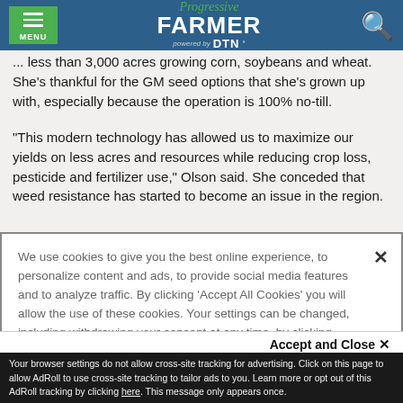Progressive FARMER powered by DTN
... less than 3,000 acres growing corn, soybeans and wheat. She's thankful for the GM seed options that she's grown up with, especially because the operation is 100% no-till.
"This modern technology has allowed us to maximize our yields on less acres and resources while reducing crop loss, pesticide and fertilizer use," Olson said. She conceded that weed resistance has started to become an issue in the region.
We use cookies to give you the best online experience, to personalize content and ads, to provide social media features and to analyze traffic. By clicking ‘Accept All Cookies’ you will allow the use of these cookies. Your settings can be changed, including withdrawing your consent at any time, by clicking ‘Cookie Settings’. Find out more on how we and third parties use cookies in our Cookie Policy
Accept and Close ×
Your browser settings do not allow cross-site tracking for advertising. Click on this page to allow AdRoll to use cross-site tracking to tailor ads to you. Learn more or opt out of this AdRoll tracking by clicking here. This message only appears once.